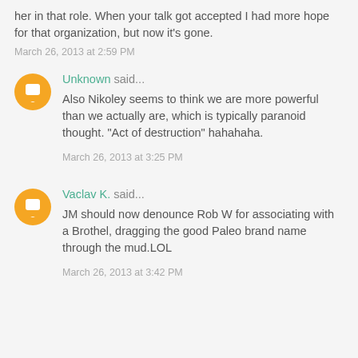her in that role. When your talk got accepted I had more hope for that organization, but now it's gone.
March 26, 2013 at 2:59 PM
Unknown said...
Also Nikoley seems to think we are more powerful than we actually are, which is typically paranoid thought. "Act of destruction" hahahaha.
March 26, 2013 at 3:25 PM
Vaclav K. said...
JM should now denounce Rob W for associating with a Brothel, dragging the good Paleo brand name through the mud.LOL
March 26, 2013 at 3:42 PM